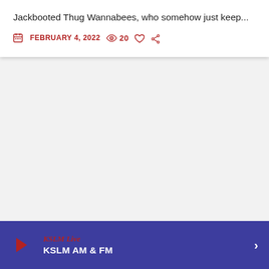Jackbooted Thug Wannabees, who somehow just keep…
FEBRUARY 4, 2022  20
KSLM Live  KSLM AM & FM